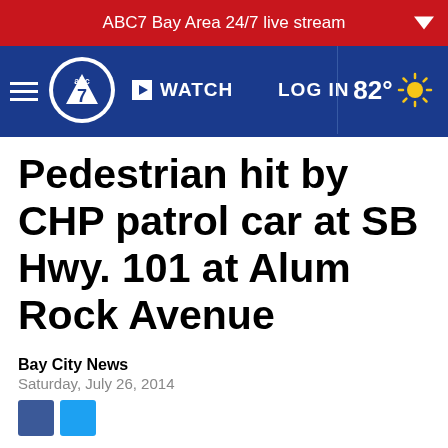ABC7 Bay Area 24/7 live stream
[Figure (screenshot): ABC7 navigation bar with hamburger menu, ABC7 logo, WATCH button, LOG IN link, and weather showing 82°]
Pedestrian hit by CHP patrol car at SB Hwy. 101 at Alum Rock Avenue
Bay City News
Saturday, July 26, 2014